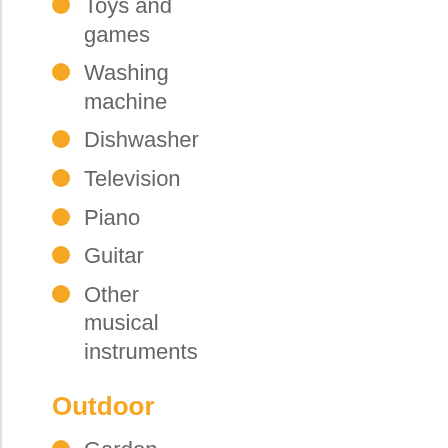Toys and games
Washing machine
Dishwasher
Television
Piano
Guitar
Other musical instruments
Outdoor
Garden
Terrace or deck